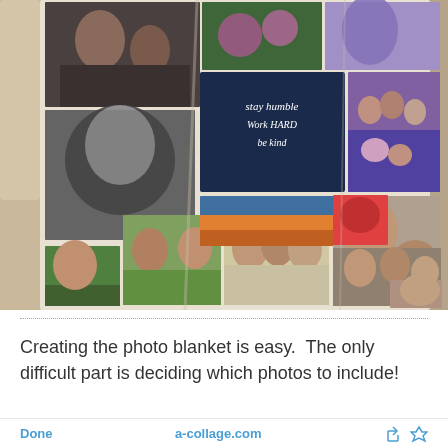[Figure (photo): A photo blanket displayed on a couch, showing a collage of multiple family photos printed on a fleece/plush blanket. Photos include children, family groups, a nature landscape, a motivational quote ('stay humble work HARD be kind'), pets, and various casual moments.]
Creating the photo blanket is easy.  The only difficult part is deciding which photos to include!
Done   a-collage.com